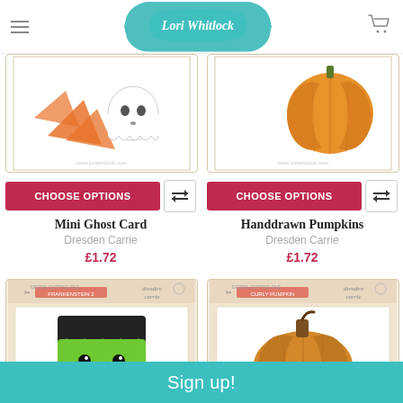Lori Whitlock
[Figure (photo): Mini Ghost Card product image showing orange shapes and a ghost cutout on tan card packaging]
CHOOSE OPTIONS
Mini Ghost Card
Dresden Carrie
£1.72
[Figure (photo): Handdrawn Pumpkins product image showing an orange pumpkin on tan card packaging]
CHOOSE OPTIONS
Handdrawn Pumpkins
Dresden Carrie
£1.72
[Figure (photo): Frankenstein 2 digital cutting file product image showing green Frankenstein face with black hair]
[Figure (photo): Curly Pumpkin digital cutting file product image showing orange pumpkin with brown stem]
Sign up!